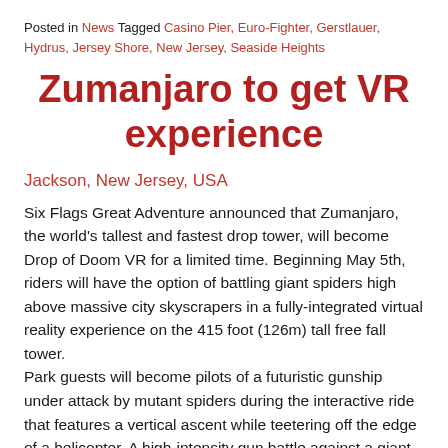Posted in News Tagged Casino Pier, Euro-Fighter, Gerstlauer, Hydrus, Jersey Shore, New Jersey, Seaside Heights
Zumanjaro to get VR experience
Jackson, New Jersey, USA
Six Flags Great Adventure announced that Zumanjaro, the world's tallest and fastest drop tower, will become Drop of Doom VR for a limited time. Beginning May 5th, riders will have the option of battling giant spiders high above massive city skyscrapers in a fully-integrated virtual reality experience on the 415 foot (126m) tall free fall tower. Park guests will become pilots of a futuristic gunship under attack by mutant spiders during the interactive ride that features a vertical ascent while teetering off the edge of a helicopter. A high-intensity gun battle against a giant arachnid, spewing baby spiders that virtually crawl all over